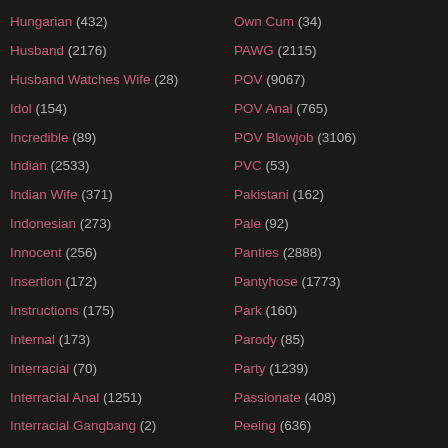Hungarian (432)
Husband (2176)
Husband Watches Wife (28)
Idol (154)
Incredible (89)
Indian (2533)
Indian Wife (371)
Indonesian (273)
Innocent (256)
Insertion (172)
Instructions (175)
Internal (173)
Interracial (70)
Interracial Anal (1251)
Interracial Gangbang (2)
Own Cum (34)
PAWG (2115)
POV (9067)
POV Anal (765)
POV Blowjob (3106)
PVC (53)
Pakistani (162)
Pale (92)
Panties (2888)
Pantyhose (1773)
Park (160)
Parody (85)
Party (1239)
Passionate (408)
Peeing (636)